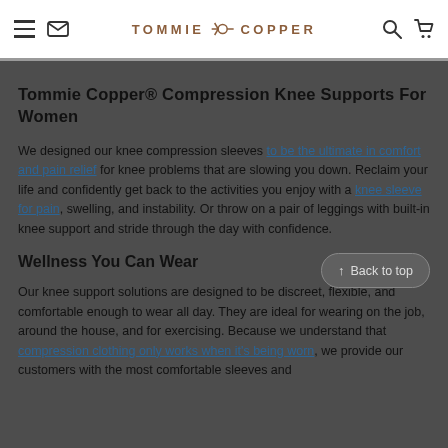TOMMIE COPPER (navigation bar with hamburger, mail, search, cart icons)
Tommie Copper® Compression Knee Supports For Women
We designed our knee compression sleeves to be the ultimate in comfort and pain relief for knee problems that are slowing you down. Reclaim your life and confidently get back to the activities you enjoy with a knee sleeve for pain, swelling, and instability. Or throw on a pair of leggings with built-in knee support and stride through the day with confidence.
Wellness You Can Wear
Our knee support solutions are designed to be discreet, flexible, and comfortable enough to wear all day. They are ideal for wearing on the job, around the house, and for exercising. Because we understand that compression clothing only works when it's being worn, we provide our customers with the most comfortable sleeves and